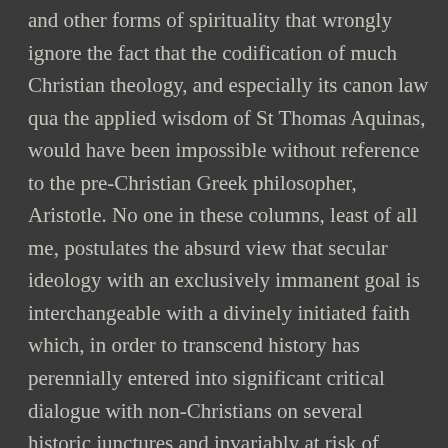and other forms of spirituality that wrongly ignore the fact that the codification of much Christian theology, and especially its canon law qua the applied wisdom of St Thomas Aquinas, would have been impossible without reference to the pre-Christian Greek philosopher, Aristotle. No one in these columns, least of all me, postulates the absurd view that secular ideology with an exclusively immanent goal is interchangeable with a divinely initiated faith which, in order to transcend history has perennially entered into significant critical dialogue with non-Christians on several historic junctures and invariably at risk of persecution, to promote the inculturation necessary for religious renewal and evangelisation. Contemporary atheistic humanism – no worse than the Enlightenment – rather than being at perennial